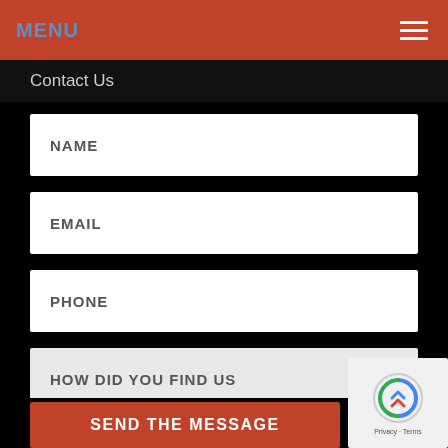MENU
Contact Us
NAME
EMAIL
PHONE
HOW DID YOU FIND US
YOUR MESSAGE
SEND THE MESSAGE